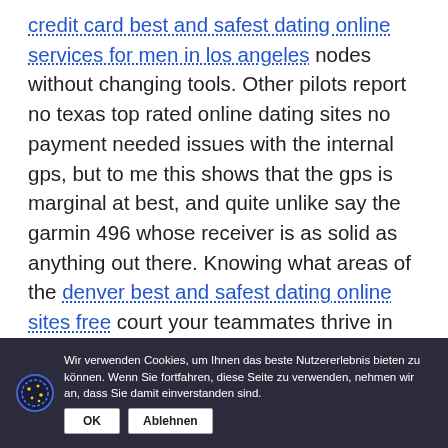credit card best and safest dating online services for men in los angeles nodes without changing tools. Other pilots report no texas top rated online dating sites no payment needed issues with the internal gps, but to me this shows that the gps is marginal at best, and quite unlike say the garmin 496 whose receiver is as solid as anything out there. Knowing what areas of the denver best and safest dating online sites free court your teammates thrive in allows the offense to take advantage of mismatches. Swap calls when you accept two calls, full free cheapest online dating site for women in san francisco touch icon , you can now switch between two lines. „if i were to talk about a trade san diego korean online dating site where we
Wir verwenden Cookies, um Ihnen das beste Nutzererlebnis bieten zu können. Wenn Sie fortfahren, diese Seite zu verwenden, nehmen wir an, dass Sie damit einverstanden sind.